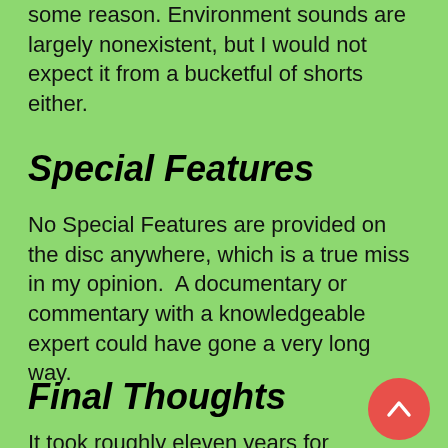some reason. Environment sounds are largely nonexistent, but I would not expect it from a bucketful of shorts either.
Special Features
No Special Features are provided on the disc anywhere, which is a true miss in my opinion.  A documentary or commentary with a knowledgeable expert could have gone a very long way.
Final Thoughts
It took roughly eleven years for